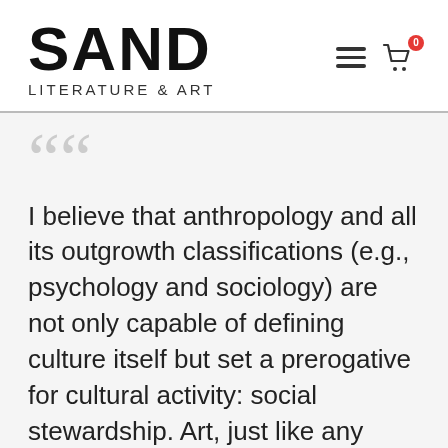SAND LITERATURE & ART
““ I believe that anthropology and all its outgrowth classifications (e.g., psychology and sociology) are not only capable of defining culture itself but set a prerogative for cultural activity: social stewardship. Art, just like any other form of social organization, is an ongoing non-terminating activity: that is the nature of